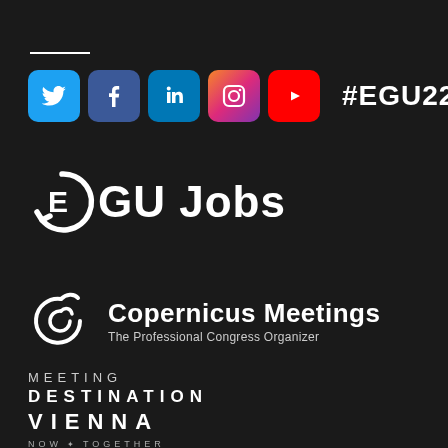[Figure (logo): Social media icons row: Twitter (blue bird), Facebook (blue f), LinkedIn (blue in), Instagram (gradient camera), YouTube (red play button), followed by hashtag #EGU22 in white bold text]
[Figure (logo): EGU Jobs logo: circular arrow icon with 'E' cutout forming a clock-like emblem, with 'EGU Jobs' text in bold white]
[Figure (logo): Copernicus Meetings logo: stylized C/P monogram in white, with 'Copernicus Meetings' in bold white and 'The Professional Congress Organizer' subtitle in light gray]
[Figure (logo): Meeting Destination Vienna logo: three lines reading 'MEETING', 'DESTINATION', 'VIENNA' in white uppercase with wide letter-spacing, and 'NOW * TOGETHER' tagline in small gray text below]